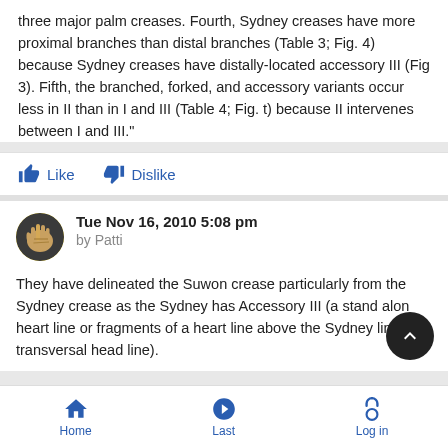three major palm creases. Fourth, Sydney creases have more proximal branches than distal branches (Table 3; Fig. 4) because Sydney creases have distally-located accessory III (Fig 3). Fifth, the branched, forked, and accessory variants occur less in II than in I and III (Table 4; Fig. t) because II intervenes between I and III."
Like  Dislike
Tue Nov 16, 2010 5:08 pm
by Patti
They have delineated the Suwon crease particularly from the Sydney crease as the Sydney has Accessory III (a stand alone heart line or fragments of a heart line above the Sydney line long transversal head line).
Home  Last  Log in